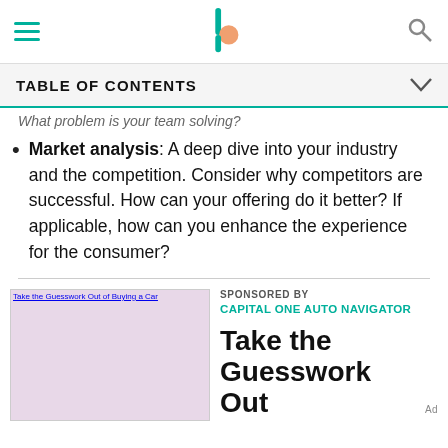TABLE OF CONTENTS
What problem is your team solving?
Market analysis: A deep dive into your industry and the competition. Consider why competitors are successful. How can your offering do it better? If applicable, how can you enhance the experience for the consumer?
[Figure (photo): Advertisement image: Take the Guesswork Out of Buying a Car — sponsored by Capital One Auto Navigator]
SPONSORED BY
CAPITAL ONE AUTO NAVIGATOR

Take the Guesswork Out   Ad